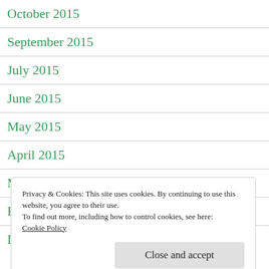October 2015
September 2015
July 2015
June 2015
May 2015
April 2015
March 2015
February 2015
December 2014
Privacy & Cookies: This site uses cookies. By continuing to use this website, you agree to their use.
To find out more, including how to control cookies, see here: Cookie Policy